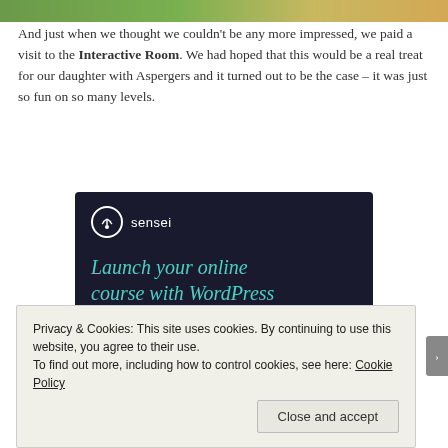[Figure (photo): Top image strip showing a green and golden outdoor scene, cropped]
And just when we thought we couldn't be any more impressed, we paid a visit to the Interactive Room. We had hoped that this would be a real treat for our daughter with Aspergers and it turned out to be the case – it was just so fun on so many levels.
[Figure (illustration): Sensei advertisement banner with dark navy background. Logo: white circle with tree icon and 'sensei' text. Headline in teal: 'Launch your online course with WordPress'. Teal rounded button: 'Learn More']
Privacy & Cookies: This site uses cookies. By continuing to use this website, you agree to their use.
To find out more, including how to control cookies, see here: Cookie Policy
Close and accept